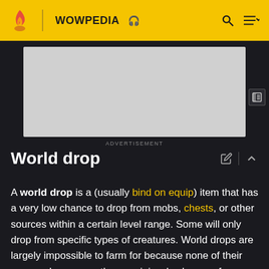WOWPEDIA
[Figure (other): Advertisement placeholder banner, light gray rectangle]
ADVERTISEMENT
World drop
A world drop is a (usually bind on equip) item that has a very low chance to drop from mobs, chests, or other sources within a certain level range. Some will only drop from specific types of creatures. World drops are largely impossible to farm for because none of their sources have more than a miniscule chance of dropping them. Because of their rarity, many world drops fetch high